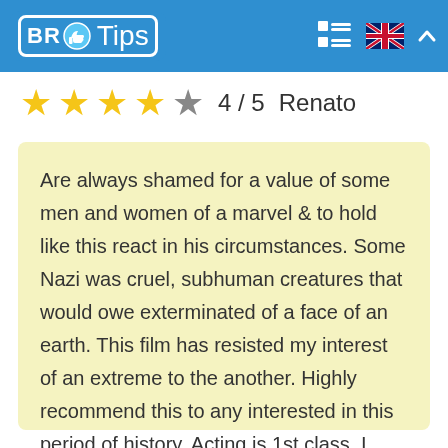BR Tips
4 / 5  Renato
Are always shamed for a value of some men and women of a marvel & to hold like this react in his circumstances. Some Nazi was cruel, subhuman creatures that would owe exterminated of a face of an earth. This film has resisted my interest of an extreme to the another. Highly recommend this to any interested in this period of history. Acting is 1st class. I have not seen never some 50 Shadows Jamie Dornan is quite good.